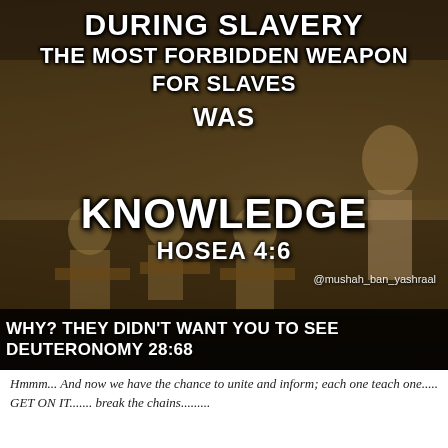[Figure (photo): Sepia-toned historical photograph of a classroom scene with children seated at desks and a standing figure, overlaid with bold white text about slavery and knowledge.]
Hmmm... And now we have the chance to unite and inform; each one teach one..... GET ON IT....... break the chains.........